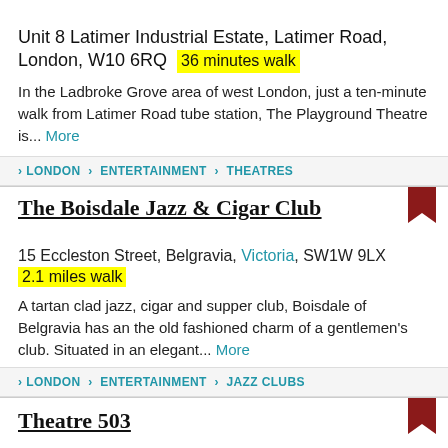Unit 8 Latimer Industrial Estate, Latimer Road, London, W10 6RQ  36 minutes walk
In the Ladbroke Grove area of west London, just a ten-minute walk from Latimer Road tube station, The Playground Theatre is... More
› LONDON › ENTERTAINMENT › THEATRES
The Boisdale Jazz & Cigar Club
15 Eccleston Street, Belgravia, Victoria, SW1W 9LX  2.1 miles walk
A tartan clad jazz, cigar and supper club, Boisdale of Belgravia has an the old fashioned charm of a gentlemen's club. Situated in an elegant... More
› LONDON › ENTERTAINMENT › JAZZ CLUBS
Theatre 503
503 Battersea Park Road, London, SW11 3BW